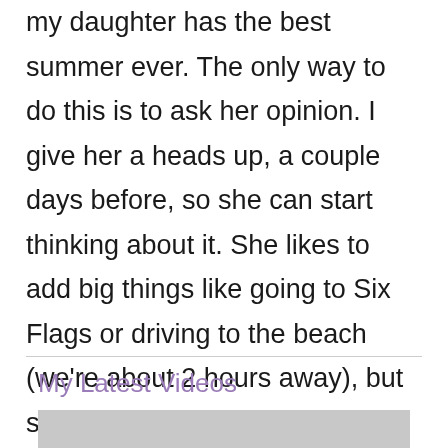my daughter has the best summer ever. The only way to do this is to ask her opinion. I give her a heads up, a couple days before, so she can start thinking about it. She likes to add big things like going to Six Flags or driving to the beach (we're about 2 hours away), but she also thinks of things like going to the local park, going to story time at the library or going on play date with her BFFs.
My Latest Videos